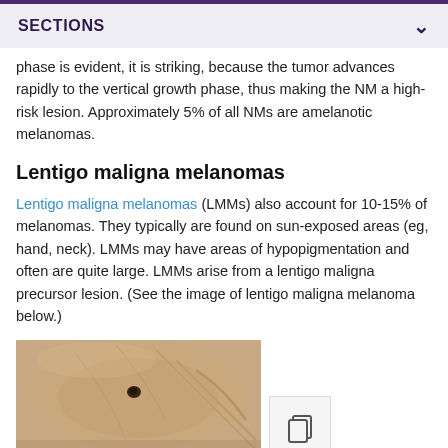SECTIONS
phase is evident, it is striking, because the tumor advances rapidly to the vertical growth phase, thus making the NM a high-risk lesion. Approximately 5% of all NMs are amelanotic melanomas.
Lentigo maligna melanomas
Lentigo maligna melanomas (LMMs) also account for 10-15% of melanomas. They typically are found on sun-exposed areas (eg, hand, neck). LMMs may have areas of hypopigmentation and often are quite large. LMMs arise from a lentigo maligna precursor lesion. (See the image of lentigo maligna melanoma below.)
[Figure (photo): Clinical photograph of lentigo maligna melanoma on skin, showing a small dark lesion on fleshy skin with visible folds.]